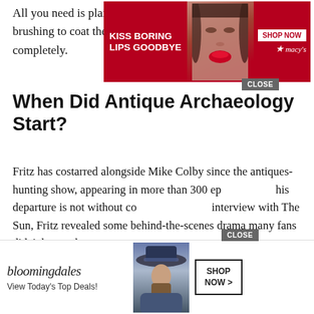All you need is plain yogurt and dip your foam brush into it, brushing to coat the surface of the pot; covering it completely.
[Figure (screenshot): Macy's advertisement banner: 'KISS BORING LIPS GOODBYE' with model wearing red lipstick, SHOP NOW button, and red Macy's star logo on dark red background with CLOSE button]
When Did Antique Archaeology Start?
Fritz has costarred alongside Mike Colby since the antiques-hunting show, appearing in more than 300 episodes. But his departure is not without controversy. In an interview with The Sun, Fritz revealed some behind-the-scenes drama many fans didn't know about.
[Figure (screenshot): Black video player overlay with white circular loading spinner in center, and X close button in top right corner]
How To Make Antique Bronze Finish On D...
[Figure (screenshot): Bloomingdale's advertisement banner: cursive 'bloomingdales' logo, 'View Today's Top Deals!', woman in blue hat, SHOP NOW > button, with CLOSE button above]